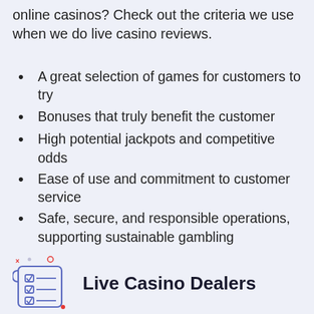online casinos? Check out the criteria we use when we do live casino reviews.
A great selection of games for customers to try
Bonuses that truly benefit the customer
High potential jackpots and competitive odds
Ease of use and commitment to customer service
Safe, secure, and responsible operations, supporting sustainable gambling
A great customer experience
Reliable gaming software delivering real-time connections for remote players
[Figure (illustration): Checklist icon with checkboxes, rendered in blue/purple outline style]
Live Casino Dealers